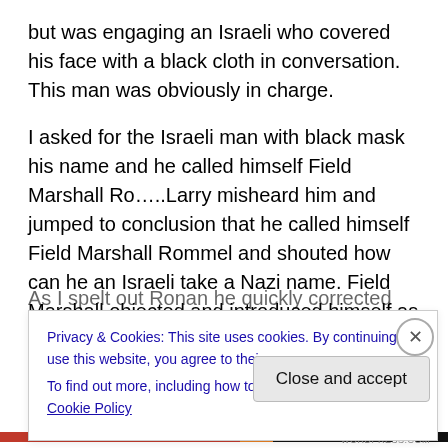but was engaging an Israeli who covered his face with a black cloth in conversation. This man was obviously in charge.
I asked for the Israeli man with black mask his name and he called himself Field Marshall Ro…..Larry misheard him and jumped to conclusion that he called himself Field Marshall Rommel and shouted how can he an Israeli take a Nazi name. Field Marshall objected and introduced himself as Field Marshall ? Ronan.
As I spelt out Ronan he quickly corrected me that his
Privacy & Cookies: This site uses cookies. By continuing to use this website, you agree to their use.
To find out more, including how to control cookies, see here: Cookie Policy
Close and accept